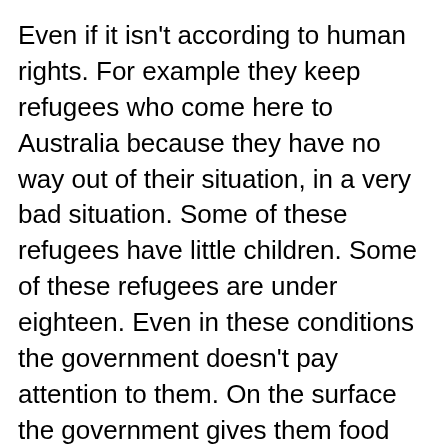Even if it isn't according to human rights. For example they keep refugees who come here to Australia because they have no way out of their situation, in a very bad situation. Some of these refugees have little children. Some of these refugees are under eighteen. Even in these conditions the government doesn't pay attention to them. On the surface the government gives them food and a place to live. But in reality something else is happening. These refugees have to stay there until the government allows them to leave. Australian government is not aware of the mental problems of these people who are in such bad condition. This government is not aware that these people are victims of war and violence